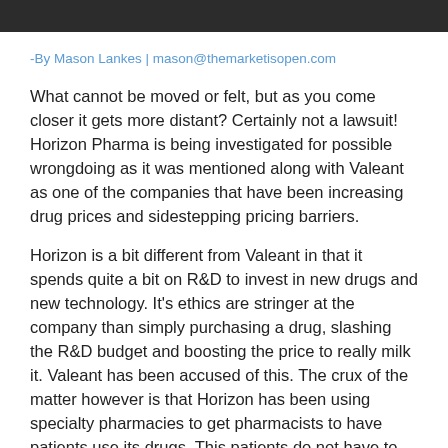[Figure (photo): Dark header image at the top of the article page]
-By Mason Lankes | mason@themarketisopen.com
What cannot be moved or felt, but as you come closer it gets more distant? Certainly not a lawsuit! Horizon Pharma is being investigated for possible wrongdoing as it was mentioned along with Valeant as one of the companies that have been increasing drug prices and sidestepping pricing barriers.
Horizon is a bit different from Valeant in that it spends quite a bit on R&D to invest in new drugs and new technology. It's ethics are stringer at the company than simply purchasing a drug, slashing the R&D budget and boosting the price to really milk it. Valeant has been accused of this. The crux of the matter however is that Horizon has been using specialty pharmacies to get pharmacists to have patients use its drugs. This patients do not have to go directly to the drug store and Horizon can charge